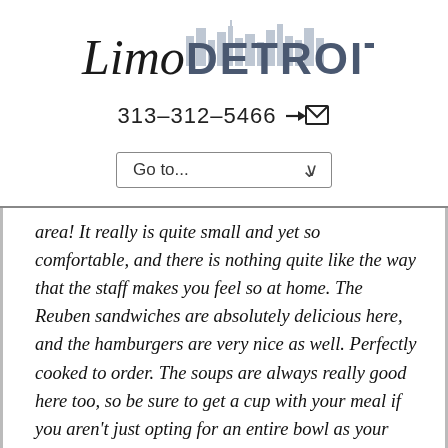[Figure (logo): Limo Detroit logo with italic script 'Limo' and bold sans-serif 'DETROIT' text with city skyline silhouette]
313-312-5466 ⇒✉
[Figure (other): Go to... dropdown navigation selector]
area! It really is quite small and yet so comfortable, and there is nothing quite like the way that the staff makes you feel so at home. The Reuben sandwiches are absolutely delicious here, and the hamburgers are very nice as well. Perfectly cooked to order. The soups are always really good here too, so be sure to get a cup with your meal if you aren't just opting for an entire bowl as your entree! We have a hard time resisting that. The salads are huge and so fresh, definitely recommended! You'll be able to find Crossbow Inn,